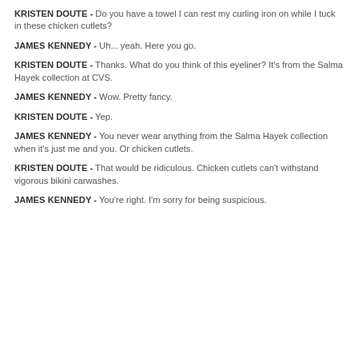KRISTEN DOUTE - Do you have a towel I can rest my curling iron on while I tuck in these chicken cutlets?
JAMES KENNEDY - Uh... yeah. Here you go.
KRISTEN DOUTE - Thanks. What do you think of this eyeliner? It's from the Salma Hayek collection at CVS.
JAMES KENNEDY - Wow. Pretty fancy.
KRISTEN DOUTE - Yep.
JAMES KENNEDY - You never wear anything from the Salma Hayek collection when it's just me and you. Or chicken cutlets.
KRISTEN DOUTE - That would be ridiculous. Chicken cutlets can't withstand vigorous bikini carwashes.
JAMES KENNEDY - You're right. I'm sorry for being suspicious.